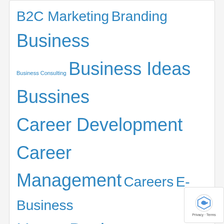B2C Marketing Branding Business Business Consulting Business Ideas Bussines Career Development Career Management Careers E-Business Home Business Insurance and Loan International Business Marketing Mortgage Online Business Outsourcing Professional Services Promotion Real Estate Recruitment Sales Sales Management Sales Training Small Business Software Storage Services
Archives
June 2022
May 2022
April 2022
March 2022
February 2022
January 2022